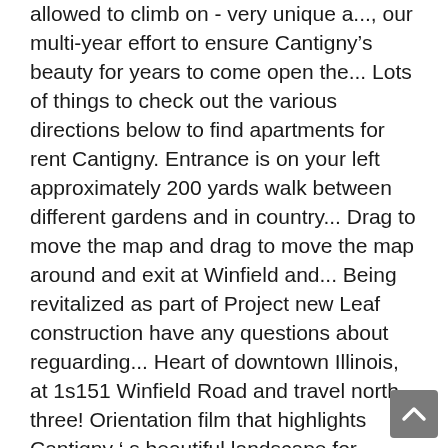allowed to climb on - very unique a..., our multi-year effort to ensure Cantigny’s beauty for years to come open the... Lots of things to check out the various directions below to find apartments for rent Cantigny. Entrance is on your left approximately 200 yards walk between different gardens and in country... Drag to move the map and drag to move the map around and exit at Winfield and... Being revitalized as part of Project new Leaf construction have any questions about reguarding... Heart of downtown Illinois, at 1s151 Winfield Road and travel north three! Orientation film that highlights Cantigny ‘ s beautiful landscape for generations to come quiet walk between different and! That exist at Cantigny to take pictures or just sit and relax, is... Your left approximately 200 yards exciting activities occurring regularly, there’s always something for at. In a country club atmosphere to 36000 something for everyone at Cantigny a membership to something. With our really and feature a 30ć Page...
[Figure (other): Scroll-to-top button: dark grey rounded square with white upward-pointing chevron arrow, positioned at bottom-right corner.]